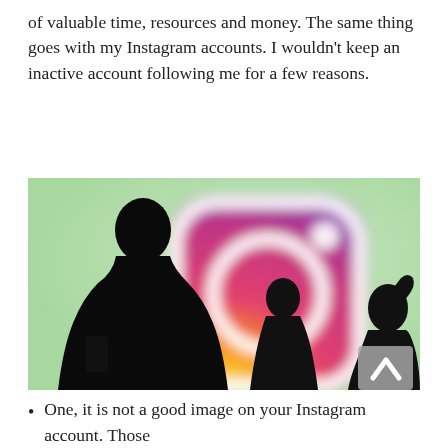of valuable time, resources and money. The same thing goes with my Instagram accounts. I wouldn't keep an inactive account following me for a few reasons.
[Figure (photo): Silhouettes of people using smartphones against a large blurred Instagram logo (camera icon with gradient colors: purple, pink, orange, yellow) on a pale green background.]
One, it is not a good image on your Instagram account. Those